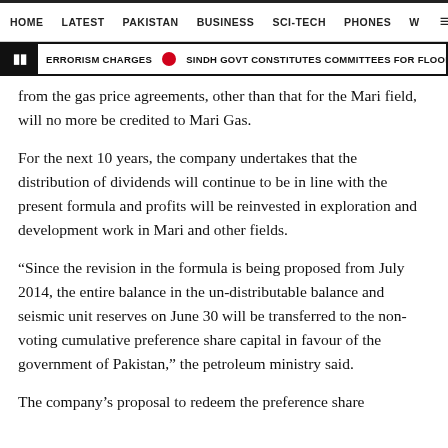HOME  LATEST  PAKISTAN  BUSINESS  SCI-TECH  PHONES  W
ERRORISM CHARGES  SINDH GOVT CONSTITUTES COMMITTEES FOR FLOOD REL
from the gas price agreements, other than that for the Mari field, will no more be credited to Mari Gas.
For the next 10 years, the company undertakes that the distribution of dividends will continue to be in line with the present formula and profits will be reinvested in exploration and development work in Mari and other fields.
“Since the revision in the formula is being proposed from July 2014, the entire balance in the un-distributable balance and seismic unit reserves on June 30 will be transferred to the non-voting cumulative preference share capital in favour of the government of Pakistan,” the petroleum ministry said.
The company’s proposal to redeem the preference share